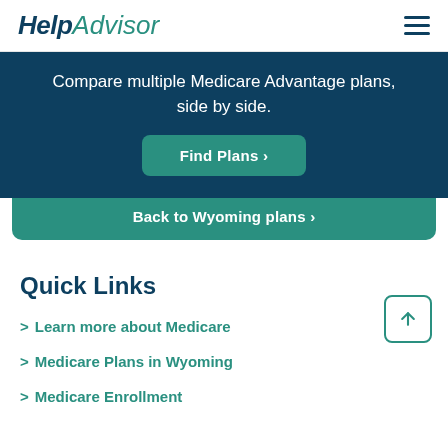HelpAdvisor
Compare multiple Medicare Advantage plans, side by side.
Find Plans ›
Back to Wyoming plans ›
Quick Links
> Learn more about Medicare
> Medicare Plans in Wyoming
> Medicare Enrollment